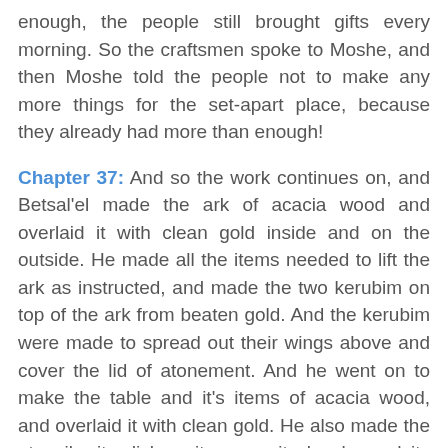enough, the people still brought gifts every morning. So the craftsmen spoke to Moshe, and then Moshe told the people not to make any more things for the set-apart place, because they already had more than enough!
Chapter 37: And so the work continues on, and Betsal'el made the ark of acacia wood and overlaid it with clean gold inside and on the outside. He made all the items needed to lift the ark as instructed, and made the two kerubim on top of the ark from beaten gold. And the kerubim were made to spread out their wings above and cover the lid of atonement. And he went on to make the table and it's items of acacia wood, and overlaid it with clean gold. He also made the utensils, its dishes, its cups, its bowls, and its jars for pouring of clean gold. And then he made the lampstand of clean gold too. Six branches of the